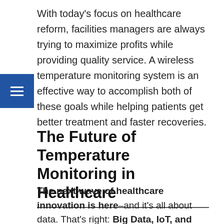With today's focus on healthcare reform, facilities managers are always trying to maximize profits while providing quality service. A wireless temperature monitoring system is an effective way to accomplish both of these goals while helping patients get better treatment and faster recoveries.
The Future of Temperature Monitoring in Healthcare
The next wave of healthcare innovation is here–and it's all about data. That's right: Big Data, IoT, and temperature monitoring are changing healthcare as we know it. Temperature monitoring systems are revolutionizing hospitals. From helping doctors make better informed decisions to...